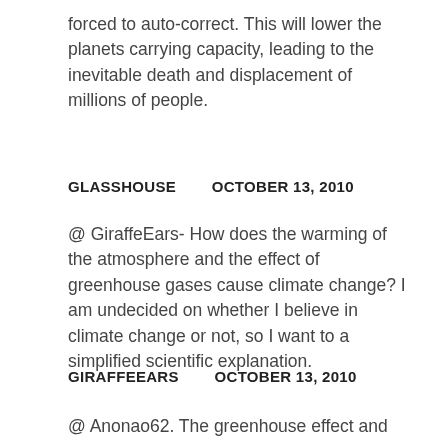forced to auto-correct. This will lower the planets carrying capacity, leading to the inevitable death and displacement of millions of people.
GLASSHOUSE        OCTOBER 13, 2010
@ GiraffeEars- How does the warming of the atmosphere and the effect of greenhouse gases cause climate change? I am undecided on whether I believe in climate change or not, so I want to a simplified scientific explanation.
GIRAFFEEARS        OCTOBER 13, 2010
@ Anonao62. The greenhouse effect and